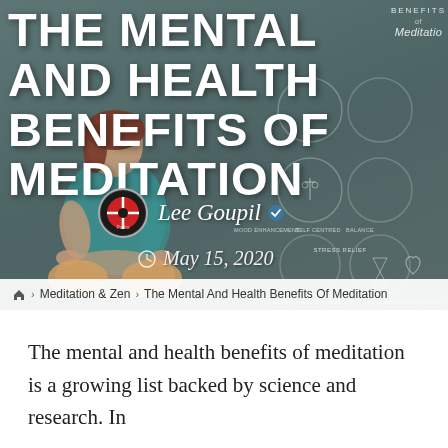[Figure (illustration): Hero banner image showing a woman meditating in lotus position with overlaid text title 'The Mental And Health Benefits Of Meditation', author name Lee Goupil, date May 15 2020, and benefits of meditation infographic icons on the right side]
THE MENTAL AND HEALTH BENEFITS OF MEDITATION
Lee Goupil
May 15, 2020
🏠 > Meditation & Zen > The Mental And Health Benefits Of Meditation
The mental and health benefits of meditation is a growing list backed by science and research. In